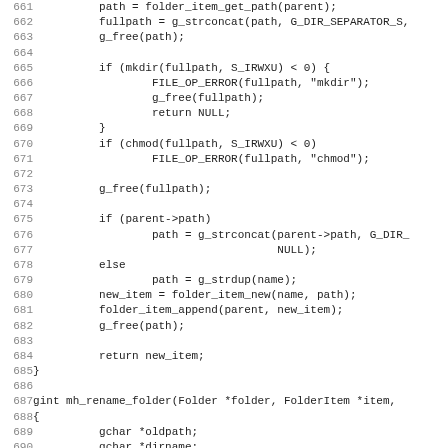[Figure (screenshot): Source code listing in C language, lines 661-692, showing folder item creation and rename folder function implementations using monospace font on white background with grey line numbers.]